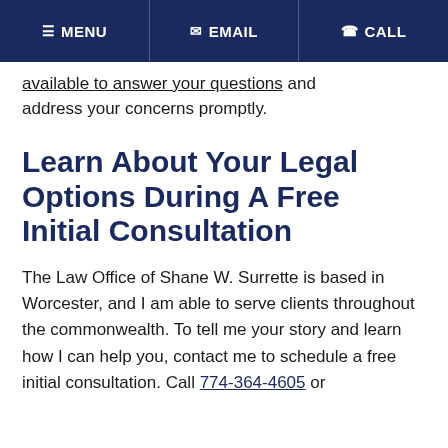MENU  EMAIL  CALL
available to answer your questions and address your concerns promptly.
Learn About Your Legal Options During A Free Initial Consultation
The Law Office of Shane W. Surrette is based in Worcester, and I am able to serve clients throughout the commonwealth. To tell me your story and learn how I can help you, contact me to schedule a free initial consultation. Call 774-364-4605 or